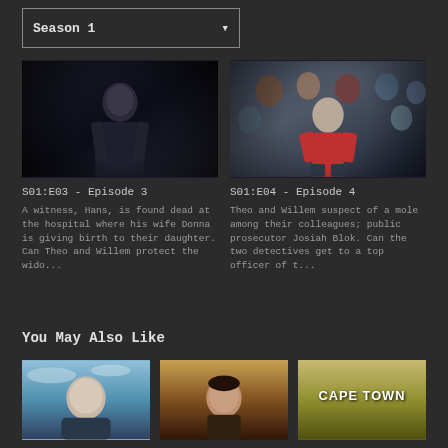Season 1
[Figure (screenshot): Dark screenshot of a man in a suit standing in a dimly lit scene - Episode 3 thumbnail]
S01:E03 - Episode 3
A witness, Hans, is found dead at the hospital where his wife Donna is giving birth to their daughter. Can Theo and Willem protect the wido...
[Figure (screenshot): Screenshot of a young woman in a red top sitting among a crowd of people - Episode 4 thumbnail]
S01:E04 - Episode 4
Theo and Willem suspect of a mole among their colleagues; public prosecutor Josiah Blok. Can the two detectives get to a top officer of t...
You May Also Like
[Figure (screenshot): Thumbnail 1: bald man against blue sky background]
[Figure (screenshot): Thumbnail 2: man with dark background warm tones]
[Figure (screenshot): Thumbnail 3: Cape Town title card with text]